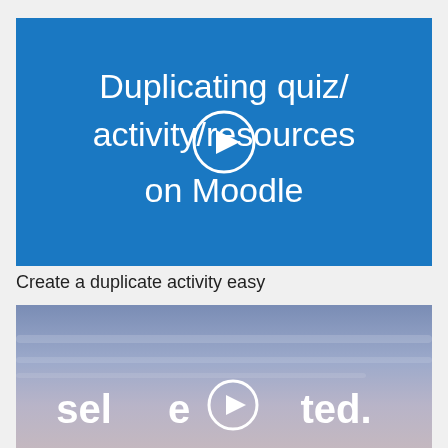[Figure (screenshot): Blue background video thumbnail with white text 'Duplicating quiz/activity/resources on Moodle' and a circular play button overlay in the center]
Create a duplicate activity easy
[Figure (screenshot): Video thumbnail with sky/cloud background showing 'seleOted.' logo with play button integrated into the letter O]